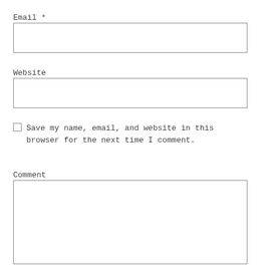Email *
[Figure (other): Empty text input field for Email]
Website
[Figure (other): Empty text input field for Website]
Save my name, email, and website in this browser for the next time I comment.
Comment
[Figure (other): Empty textarea for Comment]